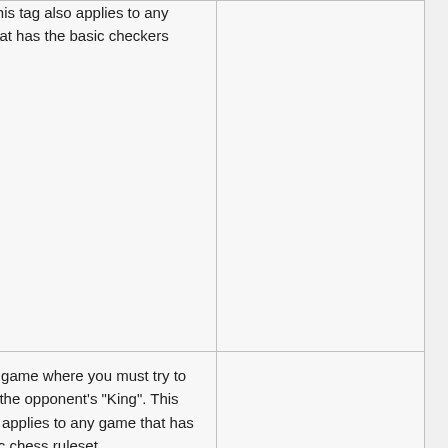| Name | Description | Examples |
| --- | --- | --- |
|  | them. This tag also applies to any game that has the basic checkers ruleset. |  |
| Chess | A board game where you must try to capture the opponent's "King". This tag also applies to any game that has the basic chess ruleset. | Bikini Bottom Chess |
|  | Games that use dominoes or have the | The |